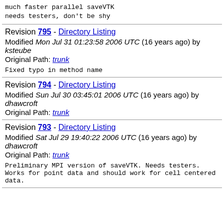much faster parallel saveVTK
needs testers, don't be shy
Revision 795 - Directory Listing
Modified Mon Jul 31 01:23:58 2006 UTC (16 years ago) by ksteube
Original Path: trunk

Fixed typo in method name
Revision 794 - Directory Listing
Modified Sun Jul 30 03:45:01 2006 UTC (16 years ago) by dhawcroft
Original Path: trunk
Revision 793 - Directory Listing
Modified Sat Jul 29 19:40:22 2006 UTC (16 years ago) by dhawcroft
Original Path: trunk

Preliminary MPI version of saveVTK. Needs testers. Works for point data and should work for cell centered data.